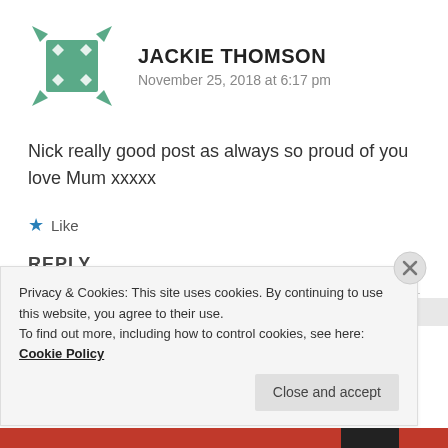[Figure (illustration): Green geometric avatar icon with diamond pattern and arrow-like corners]
JACKIE THOMSON
November 25, 2018 at 6:17 pm
Nick really good post as always so proud of you love Mum xxxxx
Like
REPLY
Privacy & Cookies: This site uses cookies. By continuing to use this website, you agree to their use.
To find out more, including how to control cookies, see here: Cookie Policy
Close and accept